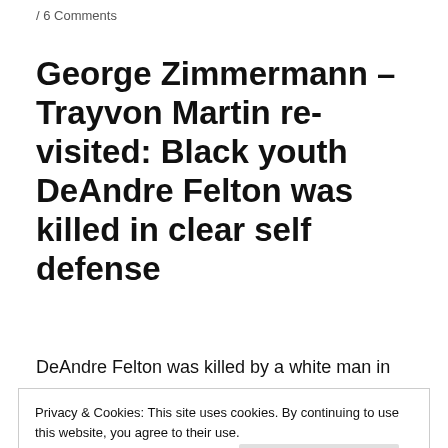/ 6 Comments
George Zimmermann – Trayvon Martin re-visited: Black youth DeAndre Felton was killed in clear self defense
DeAndre Felton was killed by a white man in
Privacy & Cookies: This site uses cookies. By continuing to use this website, you agree to their use.
To find out more, including how to control cookies, see here: Cookie Policy
Close and accept